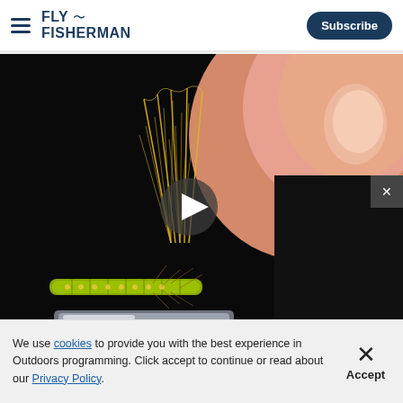FLY FISHERMAN | Subscribe
[Figure (photo): Close-up photo of a fly fishing lure being tied, showing feathers and hook against a dark background with a finger holding it]
How-To/Techniq...
Fly Tying th...
[Figure (screenshot): Dark video player overlay panel on the right side of the screen]
We use cookies to provide you with the best experience in Outdoors programming. Click accept to continue or read about our Privacy Policy.